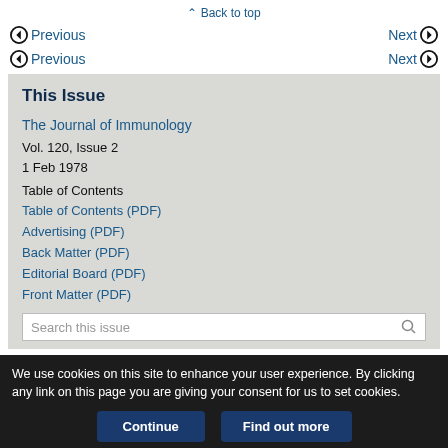^ Back to top
Previous | Next
Previous | Next
This Issue
The Journal of Immunology
Vol. 120, Issue 2
1 Feb 1978
Table of Contents
Table of Contents (PDF)
Advertising (PDF)
Back Matter (PDF)
Editorial Board (PDF)
Front Matter (PDF)
We use cookies on this site to enhance your user experience. By clicking any link on this page you are giving your consent for us to set cookies.
Continue | Find out more